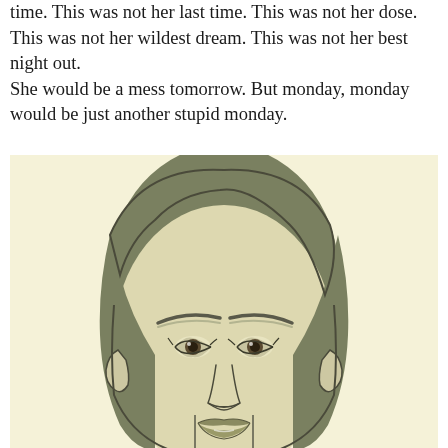time. This was not her last time. This was not her dose. This was not her wildest dream. This was not her best night out. She would be a mess tomorrow. But monday, monday would be just another stupid monday.
[Figure (illustration): A digital illustration of a young woman's face, drawn in a stylized manner with muted olive-green and beige tones. The woman has short brown hair, prominent eyebrows, and a neutral expression. The background is a pale cream/yellow color.]